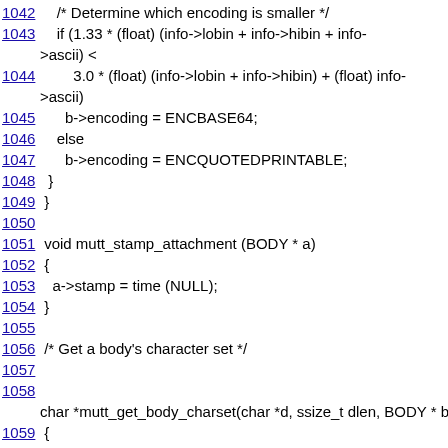1042    /* Determine which encoding is smaller */
1043    if (1.33 * (float) (info->lobin + info->hibin + info->ascii) <
1044        3.0 * (float) (info->lobin + info->hibin) + (float) info->ascii)
1045      b->encoding = ENCBASE64;
1046    else
1047      b->encoding = ENCQUOTEDPRINTABLE;
1048  }
1049 }
1050
1051 void mutt_stamp_attachment (BODY * a)
1052 {
1053   a->stamp = time (NULL);
1054 }
1055
1056 /* Get a body's character set */
1057
1058
char *mutt_get_body_charset(char *d, ssize_t dlen, BODY * b)
1059 {
1060     const char *p;
1061
1062    if (b && b->type != TYPETEXT)
1063       return NULL;
1064